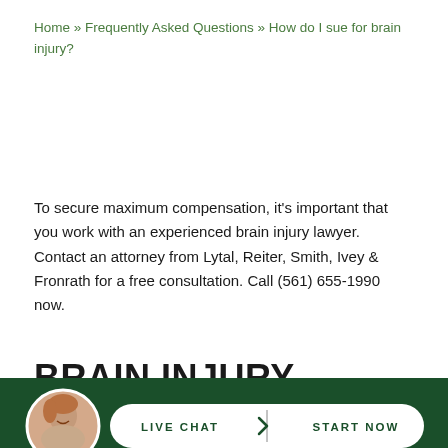Home » Frequently Asked Questions » How do I sue for brain injury?
To secure maximum compensation, it's important that you work with an experienced brain injury lawyer. Contact an attorney from Lytal, Reiter, Smith, Ivey & Fronrath for a free consultation. Call (561) 655-1990 now.
BRAIN INJURY LAWSUIT PRO...
[Figure (illustration): Live chat button with attorney avatar on dark green bar at bottom of page. White pill-shaped button reads LIVE CHAT > START NOW with a circular photo of a smiling woman.]